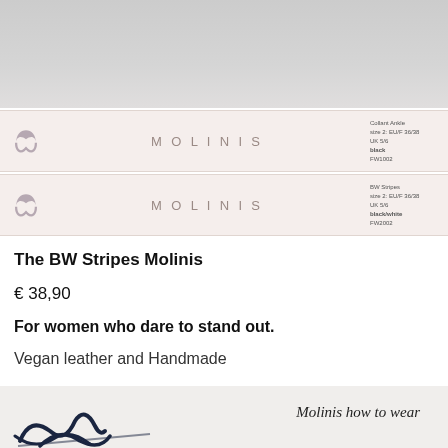[Figure (photo): Top portion of product photo showing Molinis shoe boxes stacked, cropped at top]
[Figure (photo): Two Molinis branded shoe boxes stacked on top of each other. Each box has the Molinis logo (stylized M) on the left, 'MOLINIS' text centered, and product label text on the right including details like size, color (black / black/white), and product code.]
The BW Stripes Molinis
€ 38,90
For women who dare to stand out.
Vegan leather and Handmade
[Figure (photo): Bottom portion showing a hand-drawn illustration or script text reading 'Molinis how to wear' with decorative calligraphy strokes]